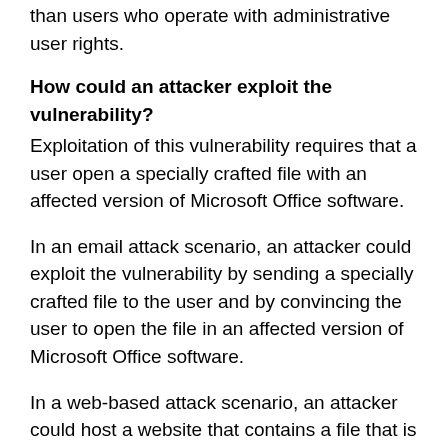than users who operate with administrative user rights.
How could an attacker exploit the vulnerability?
Exploitation of this vulnerability requires that a user open a specially crafted file with an affected version of Microsoft Office software.
In an email attack scenario, an attacker could exploit the vulnerability by sending a specially crafted file to the user and by convincing the user to open the file in an affected version of Microsoft Office software.
In a web-based attack scenario, an attacker could host a website that contains a file that is used to attempt to exploit this vulnerability. In addition, compromised websites and websites that accept or host user-provided content could contain specially crafted content that could exploit this vulnerability. An attacker would have no way to force users to visit a specially crafted website. Instead, an attacker